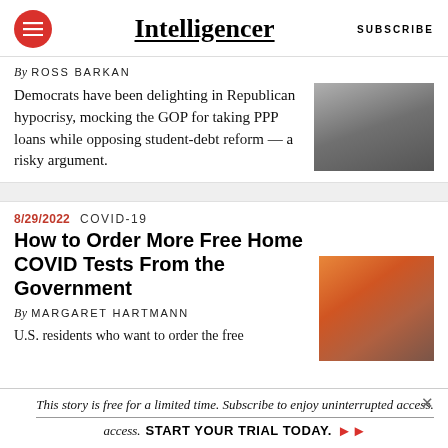Intelligencer | SUBSCRIBE
By ROSS BARKAN
Democrats have been delighting in Republican hypocrisy, mocking the GOP for taking PPP loans while opposing student-debt reform — a risky argument.
[Figure (photo): Street scene with people walking]
8/29/2022  COVID-19
How to Order More Free Home COVID Tests From the Government
By MARGARET HARTMANN
U.S. residents who want to order the free
[Figure (photo): Hands holding COVID rapid test packaging in orange and white]
This story is free for a limited time. Subscribe to enjoy uninterrupted access. START YOUR TRIAL TODAY. ▶▶